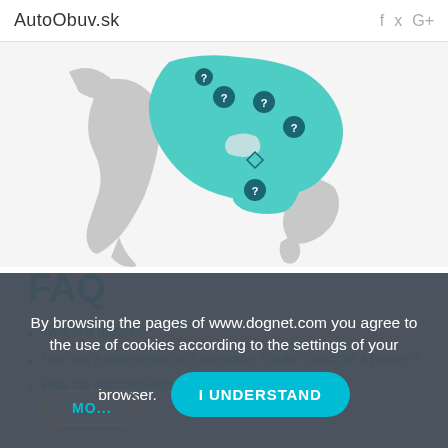AutoObuv.sk
[Figure (map): Map of Balkan/South-East European region with teal-highlighted countries and location pin markers]
FAQ
Who is a partner?
I am not a tradesman or a company. Could I become a partner?
How the commission's payment works?
May I share a link and return to another site?
How can I set the function of display banners?
By browsing the pages of www.dognet.com you agree to the use of cookies according to the settings of your browser.
I UNDERSTAND